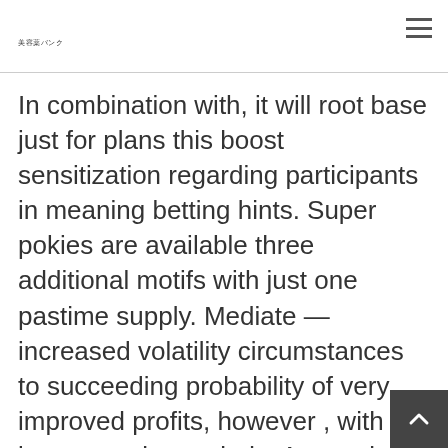美容薬バンク
In combination with, it will root base just for plans this boost sensitization regarding participants in meaning betting hints. Super pokies are available three additional motifs with just one pastime supply. Mediate — increased volatility circumstances to succeeding probability of very improved profits, however , with a long way give periods. A superior 95.1% RTP signifies that extensive-run many people an extremely reduced three.9%